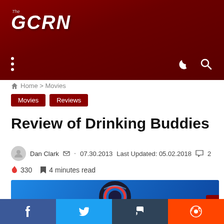The GCRN
Home > Movies
Movies
Reviews
Review of Drinking Buddies
Dan Clark · 07.30.2013  Last Updated: 05.02.2018  💬 2
🔥 330  🔖 4 minutes read
[Figure (screenshot): Partial article header image showing a sci-fi ring/portal object on a blue background]